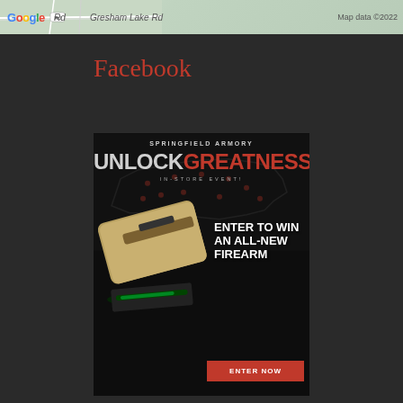[Figure (map): Google Maps strip showing Gresham Lake Rd area with map data copyright 2022]
Facebook
[Figure (advertisement): Springfield Armory 'Unlock Greatness' in-store event advertisement. Features a gold/tan handgun safe on a dark background with US map silhouette. Text: SPRINGFIELD ARMORY, UNLOCKGREATNESS, IN-STORE EVENT!, ENTER TO WIN AN ALL-NEW FIREARM, ENTER NOW button in red.]